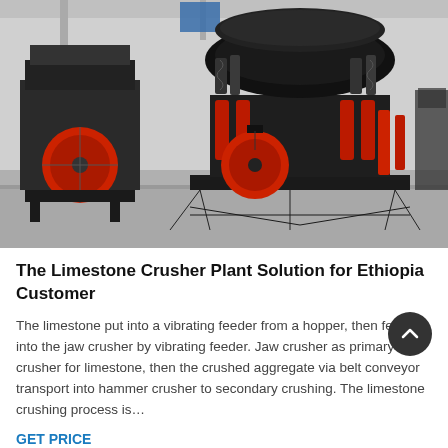[Figure (photo): Industrial photograph of large black and red cone crushers (limestone crusher plant equipment) inside a factory/warehouse setting. Multiple crusher machines visible, with a prominent circular red pulley wheel. Concrete floor and warehouse structure visible in background.]
The Limestone Crusher Plant Solution for Ethiopia Customer
The limestone put into a vibrating feeder from a hopper, then feed into the jaw crusher by vibrating feeder. Jaw crusher as primary crusher for limestone, then the crushed aggregate via belt conveyor transport into hammer crusher to secondary crushing. The limestone crushing process is...
GET PRICE